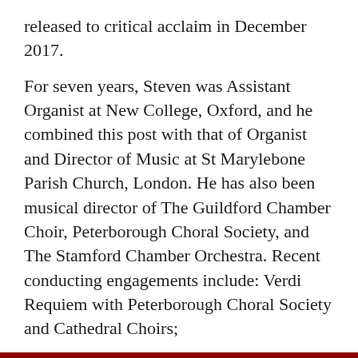released to critical acclaim in December 2017.
For seven years, Steven was Assistant Organist at New College, Oxford, and he combined this post with that of Organist and Director of Music at St Marylebone Parish Church, London. He has also been musical director of The Guildford Chamber Choir, Peterborough Choral Society, and The Stamford Chamber Orchestra. Recent conducting engagements include: Verdi Requiem with Peterborough Choral Society and Cathedral Choirs;
This site uses cookies and records your IP address to assist us in analyzing how our visitors use our website, it also helps us offer you better navigation, and to develop content more relevant to your requirements. We do not share any information acquired in this way with third parties.
More about Cookies
Read the Christ Church Data Privacy Notice